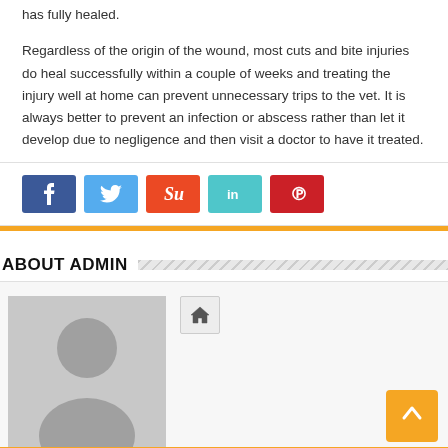has fully healed.
Regardless of the origin of the wound, most cuts and bite injuries do heal successfully within a couple of weeks and treating the injury well at home can prevent unnecessary trips to the vet. It is always better to prevent an infection or abscess rather than let it develop due to negligence and then visit a doctor to have it treated.
[Figure (infographic): Social media share buttons: Facebook (blue), Twitter (light blue), StumbleUpon (orange-red), LinkedIn (teal), Pinterest (red)]
ABOUT ADMIN
[Figure (photo): Default avatar/placeholder image showing silhouette of a person on grey background, with a home icon button to the right]